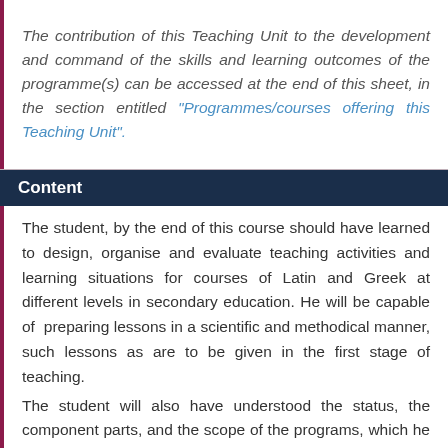The contribution of this Teaching Unit to the development and command of the skills and learning outcomes of the programme(s) can be accessed at the end of this sheet, in the section entitled "Programmes/courses offering this Teaching Unit".
Content
The student, by the end of this course should have learned to design, organise and evaluate teaching activities and learning situations for courses of Latin and Greek at different levels in secondary education. He will be capable of preparing lessons in a scientific and methodical manner, such lessons as are to be given in the first stage of teaching.
The student will also have understood the status, the component parts, and the scope of the programs, which he will have read with a critical eye. He will have put together original teaching lessons, adapted